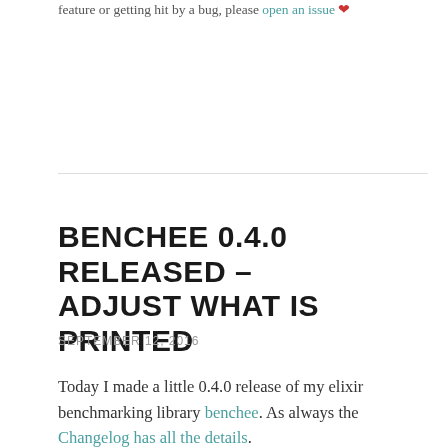feature or getting hit by a bug, please open an issue ❤
BENCHEE 0.4.0 RELEASED – ADJUST WHAT IS PRINTED
SEPTEMBER 12, 2016
Today I made a little 0.4.0 release of my elixir benchmarking library benchee. As always the Changelog has all the details.